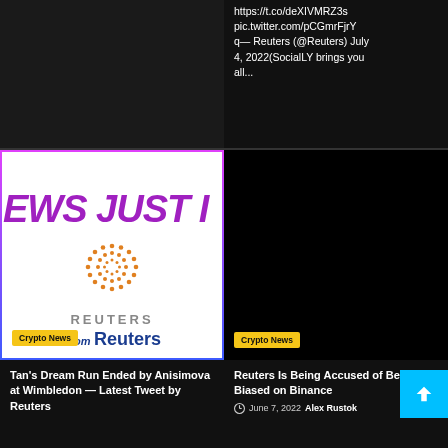https://t.co/deXIVMRZ3s pic.twitter.com/pCGmrFjrYq— Reuters (@Reuters) July 4, 2022(SocialLY brings you all...
[Figure (logo): Reuters 'NEWS JUST IN' card with Reuters orange dot logo and 'From Reuters' text, with gradient border]
Crypto News
Tan's Dream Run Ended by Anisimova at Wimbledon — Latest Tweet by Reuters
[Figure (photo): Dark/black image placeholder for Reuters article]
Crypto News
Reuters Is Being Accused of Being Biased on Binance
June 7, 2022  Alex Rustok